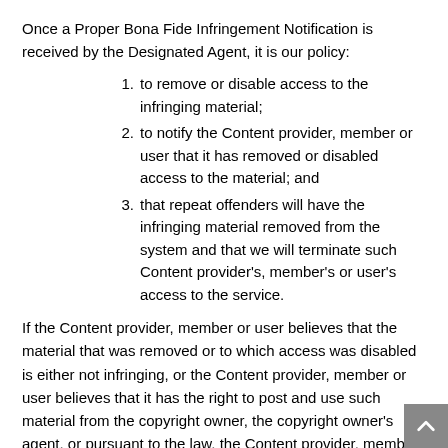Once a Proper Bona Fide Infringement Notification is received by the Designated Agent, it is our policy:
to remove or disable access to the infringing material;
to notify the Content provider, member or user that it has removed or disabled access to the material; and
that repeat offenders will have the infringing material removed from the system and that we will terminate such Content provider's, member's or user's access to the service.
If the Content provider, member or user believes that the material that was removed or to which access was disabled is either not infringing, or the Content provider, member or user believes that it has the right to post and use such material from the copyright owner, the copyright owner's agent, or pursuant to the law, the Content provider, member or user